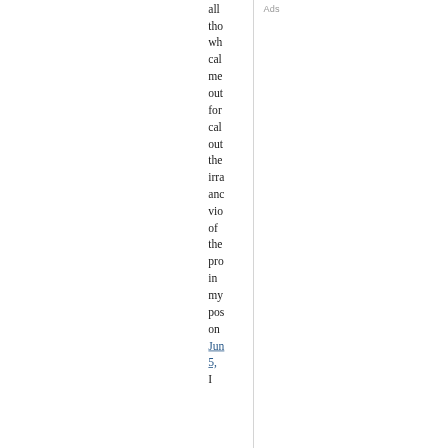all tho wh cal me out for cal out the irra anc vio of the pro in my pos on Jun 5, I
Ads